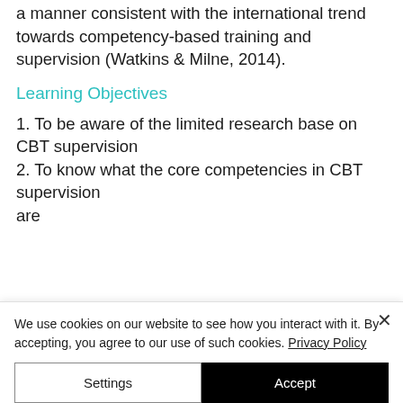a manner consistent with the international trend towards competency-based training and supervision (Watkins & Milne, 2014).
Learning Objectives
1. To be aware of the limited research base on CBT supervision
2. To know what the core competencies in CBT supervision are
We use cookies on our website to see how you interact with it. By accepting, you agree to our use of such cookies. Privacy Policy
Settings
Accept